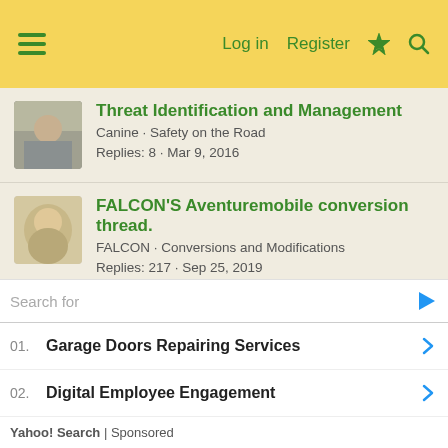Log in  Register
Threat Identification and Management
Canine · Safety on the Road
Replies: 8 · Mar 9, 2016
FALCON'S Aventuremobile conversion thread.
FALCON · Conversions and Modifications
Replies: 217 · Sep 25, 2019
The Rules of the Forum: February, 2014
akrvbob · Van Living Forum Announcements & Support
Replies: 2 · Feb 14, 2014
30 things for happiness - article
Search for
01.  Garage Doors Repairing Services
02.  Digital Employee Engagement
Yahoo! Search | Sponsored